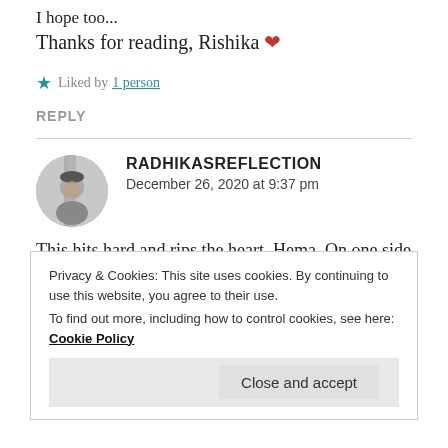I hope too...
Thanks for reading, Rishika ❤
★ Liked by 1 person
REPLY
RADHIKASREFLECTION
December 26, 2020 at 9:37 pm
This hits hard and rips the heart, Hema. On one side
Privacy & Cookies: This site uses cookies. By continuing to use this website, you agree to their use.
To find out more, including how to control cookies, see here: Cookie Policy
Close and accept
REPLY